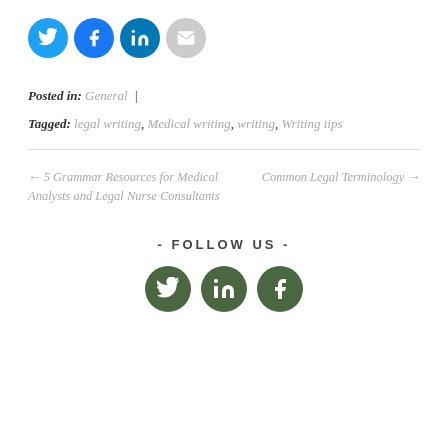[Figure (other): Social share icons: Twitter (blue), Facebook (blue), LinkedIn (blue), Email (gray)]
Posted in: General |
Tagged: legal writing, Medical writing, writing, Writing tips
← 5 Grammar Resources for Medical Analysts and Legal Nurse Consultants
Common Legal Terminology →
- FOLLOW US -
[Figure (other): Follow us social icons: Twitter, LinkedIn, Facebook in dark green circles]